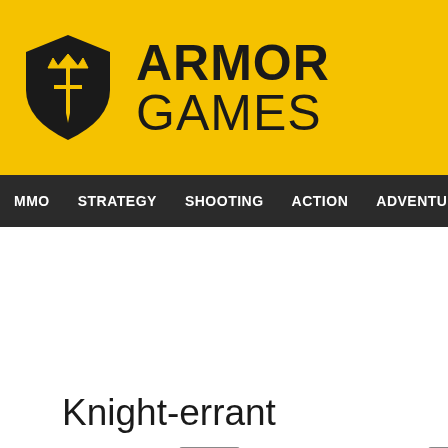ARMOR GAMES
MMO  STRATEGY  SHOOTING  ACTION  ADVENTURE  P
Knight-errant
95  65K  MOUSE ONLY  PUZZLE  HTML  MAZE  5 MINUTE